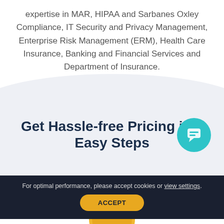expertise in MAR, HIPAA and Sarbanes Oxley Compliance, IT Security and Privacy Management, Enterprise Risk Management (ERM), Health Care Insurance, Banking and Financial Services and Department of Insurance.
Get Hassle-free Pricing in 3 Easy Steps
[Figure (illustration): Teal chat/messaging icon button (circular, with speech bubble icon) positioned at right side]
[Figure (illustration): Gold/yellow circle at bottom center, partially cut off]
For optimal performance, please accept cookies or view settings.
ACCEPT